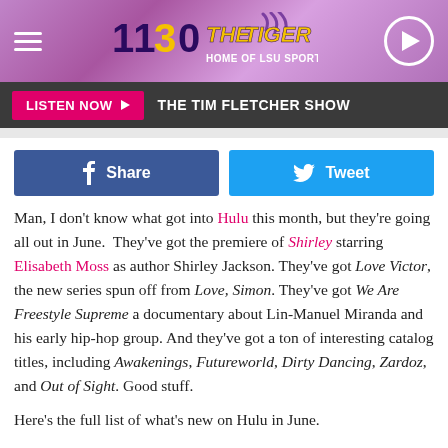[Figure (logo): 1130 The Tiger – Home of LSU Sports radio station logo banner with purple gradient background, hamburger menu icon on left, play button circle on right]
[Figure (screenshot): Listen Now button bar in dark gray: pink LISTEN NOW button with play arrow, then THE TIM FLETCHER SHOW text in white]
[Figure (screenshot): Social sharing row with blue Facebook Share button and cyan Twitter Tweet button]
Man, I don't know what got into Hulu this month, but they're going all out in June. They've got the premiere of Shirley starring Elisabeth Moss as author Shirley Jackson. They've got Love Victor, the new series spun off from Love, Simon. They've got We Are Freestyle Supreme a documentary about Lin-Manuel Miranda and his early hip-hop group. And they've got a ton of interesting catalog titles, including Awakenings, Futureworld, Dirty Dancing, Zardoz, and Out of Sight. Good stuff.
Here's the full list of what's new on Hulu in June.